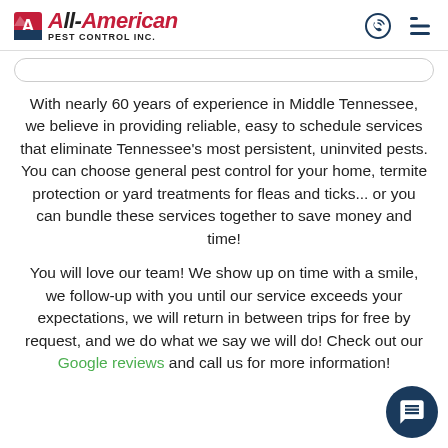All-American Pest Control Inc.
With nearly 60 years of experience in Middle Tennessee, we believe in providing reliable, easy to schedule services that eliminate Tennessee's most persistent, uninvited pests. You can choose general pest control for your home, termite protection or yard treatments for fleas and ticks... or you can bundle these services together to save money and time!
You will love our team! We show up on time with a smile, we follow-up with you until our service exceeds your expectations, we will return in between trips for free by request, and we do what we say we will do! Check out our Google reviews and call us for more information!